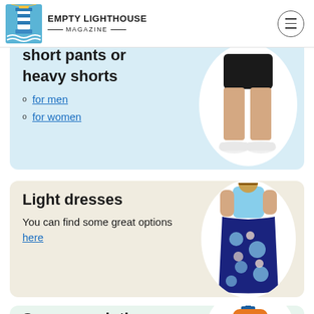EMPTY LIGHTHOUSE MAGAZINE
short pants or heavy shorts
for men
for women
[Figure (photo): Person wearing black shorts and white sneakers, shown from waist down]
Light dresses
You can find some great options here
[Figure (photo): Woman wearing a floral maxi dress in blue and navy]
Sunscreen lotion
[Figure (photo): Orange sunscreen lotion pump bottle]